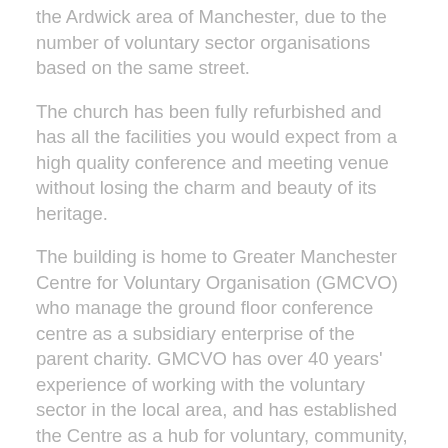the Ardwick area of Manchester, due to the number of voluntary sector organisations based on the same street.
The church has been fully refurbished and has all the facilities you would expect from a high quality conference and meeting venue without losing the charm and beauty of its heritage.
The building is home to Greater Manchester Centre for Voluntary Organisation (GMCVO) who manage the ground floor conference centre as a subsidiary enterprise of the parent charity. GMCVO has over 40 years' experience of working with the voluntary sector in the local area, and has established the Centre as a hub for voluntary, community, faith and social enterprise organisations.
St Thomas Centre is set within an attractive and peaceful area facing Ardwick Green Park, at the same time being within easy reach of Manchester city centre and Piccadilly station and major road networks. For visitors opting to